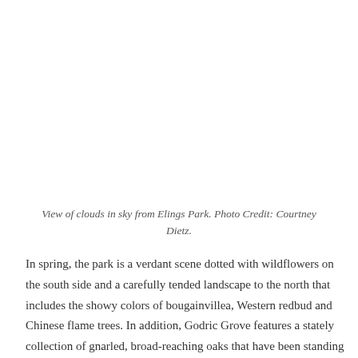View of clouds in sky from Elings Park. Photo Credit: Courtney Dietz.
In spring, the park is a verdant scene dotted with wildflowers on the south side and a carefully tended landscape to the north that includes the showy colors of bougainvillea, Western redbud and Chinese flame trees. In addition, Godric Grove features a stately collection of gnarled, broad-reaching oaks that have been standing